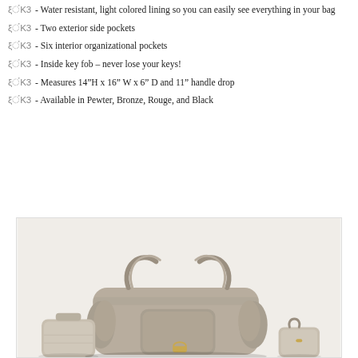🐾 - Water resistant, light colored lining so you can easily see everything in your bag
🐾 - Two exterior side pockets
🐾 - Six interior organizational pockets
🐾 - Inside key fob – never lose your keys!
🐾 - Measures 14"H x 16" W x 6" D and 11" handle drop
🐾 - Available in Pewter, Bronze, Rouge, and Black
[Figure (photo): Product photo showing pewter/taupe leather handbags in multiple sizes arranged together]